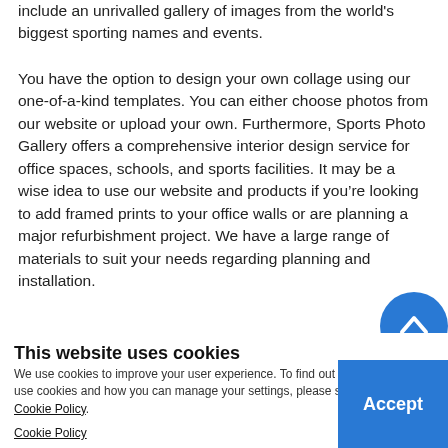include an unrivalled gallery of images from the world's biggest sporting names and events.
You have the option to design your own collage using our one-of-a-kind templates. You can either choose photos from our website or upload your own. Furthermore, Sports Photo Gallery offers a comprehensive interior design service for office spaces, schools, and sports facilities. It may be a wise idea to use our website and products if you’re looking to add framed prints to your office walls or are planning a major refurbishment project. We have a large range of materials to suit your needs regarding planning and installation.
With our site and services, buying state-of-the-art sports images has never been easier. Whether you desire images that capture a sporting legend or a team victory, you’ve come to the right place. Sports Photo Gallery has every image from our sport photo gallery and purchase at the
This website uses cookies
We use cookies to improve your user experience. To find out more on how we use cookies and how you can manage your settings, please see our Privacy & Cookie Policy.